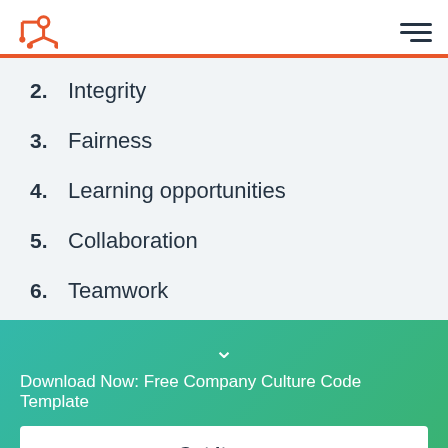HubSpot logo and navigation menu
2. Integrity
3. Fairness
4. Learning opportunities
5. Collaboration
6. Teamwork
Download Now: Free Company Culture Code Template
Get it now